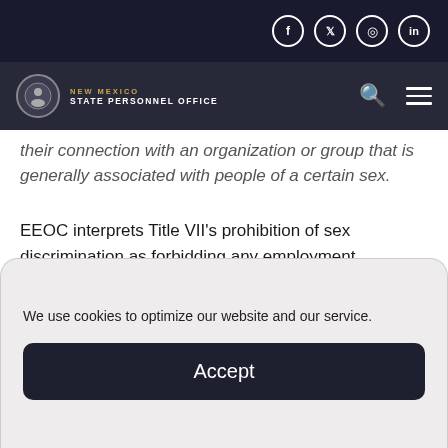New Mexico State Personnel Office — social bar and navigation
their connection with an organization or group that is generally associated with people of a certain sex.
EEOC interprets Title VII's prohibition of sex discrimination as forbidding any employment discrimination based on gender identity or sexual orientation.
The New Mexico Human Rights Act prohibits
We use cookies to optimize our website and our service.
Accept